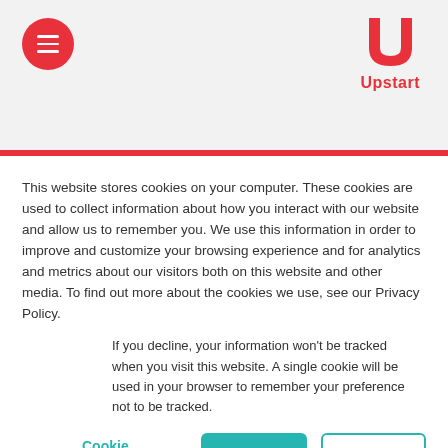[Figure (logo): Upstart logo with red U shape and 'Upstart' text in red, plus a red circular menu button with three white horizontal lines on the left]
This website stores cookies on your computer. These cookies are used to collect information about how you interact with our website and allow us to remember you. We use this information in order to improve and customize your browsing experience and for analytics and metrics about our visitors both on this website and other media. To find out more about the cookies we use, see our Privacy Policy.
If you decline, your information won't be tracked when you visit this website. A single cookie will be used in your browser to remember your preference not to be tracked.
Cookie Settings   Accept   Decline